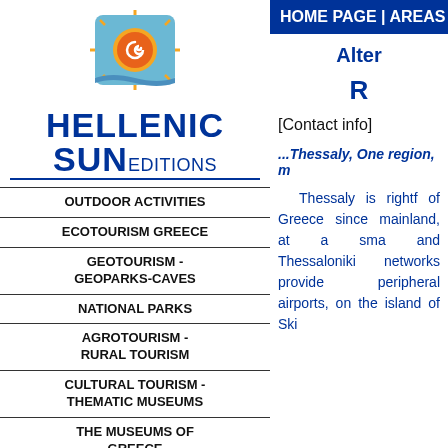[Figure (logo): Hellenic Sun Editions logo with sun spiral icon]
OUTDOOR ACTIVITIES
ECOTOURISM GREECE
GEOTOURISM - GEOPARKS-CAVES
NATIONAL PARKS
AGROTOURISM - RURAL TOURISM
CULTURAL TOURISM - THEMATIC MUSEUMS
THE MUSEUMS OF GREECE
TRADITIONAL HOTELS-
HOME PAGE | AREAS | C
Alter
R
[Contact info]
...Thessaly, One region, m
Thessaly is rightf of Greece since mainland, at a sma and Thessaloniki networks provide peripheral airports, on the island of Ski